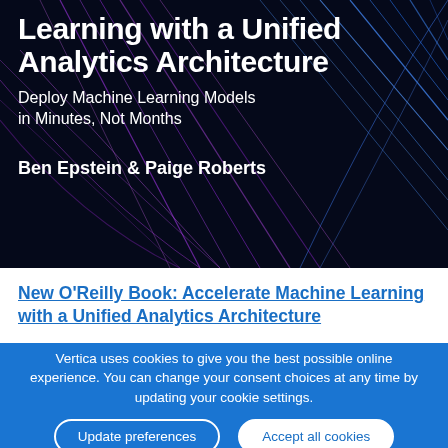[Figure (illustration): Book cover for 'Accelerate Machine Learning with a Unified Analytics Architecture' by Ben Epstein and Paige Roberts, published by O'Reilly. Dark background with purple and blue network/fiber optic line patterns. White bold text shows the title, subtitle 'Deploy Machine Learning Models in Minutes, Not Months', and authors' names.]
New O'Reilly Book: Accelerate Machine Learning with a Unified Analytics Architecture
Vertica uses cookies to give you the best possible online experience. You can change your consent choices at any time by updating your cookie settings.
Update preferences
Accept all cookies